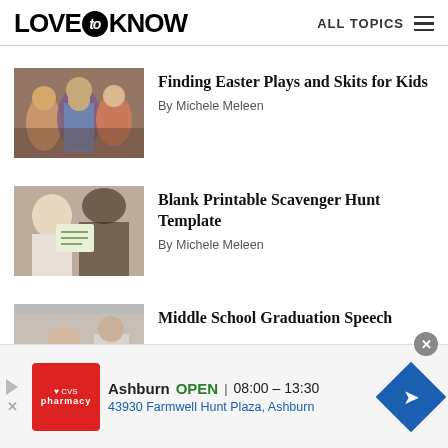LOVE to KNOW  ALL TOPICS
[Figure (photo): Group of children and adults in Easter play costumes]
Finding Easter Plays and Skits for Kids
By Michele Meleen
[Figure (photo): Person looking at a scavenger hunt checklist paper]
Blank Printable Scavenger Hunt Template
By Michele Meleen
[Figure (photo): Middle school graduation scene, partially visible]
Middle School Graduation Speech
[Figure (screenshot): CVS Pharmacy advertisement banner showing Ashburn location open 08:00-13:30 at 43930 Farmwell Hunt Plaza, Ashburn]